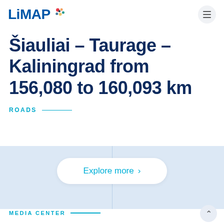LiMAP
Šiauliai – Taurage – Kaliningrad from 156,080 to 160,093 km
ROADS
Explore more
MEDIA CENTER